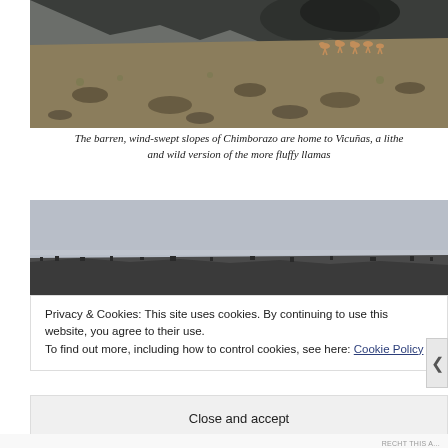[Figure (photo): Barren wind-swept slopes of Chimborazo with Vicuñas visible on the hillside. Rocky terrain with mountains and dark clouds in background.]
The barren, wind-swept slopes of Chimborazo are home to Vicuñas, a lithe and wild version of the more fluffy llamas
[Figure (photo): A wide landscape shot of a barren rocky highland plain under a pale grey sky, showing the terrain near Chimborazo.]
Privacy & Cookies: This site uses cookies. By continuing to use this website, you agree to their use.
To find out more, including how to control cookies, see here: Cookie Policy
Close and accept